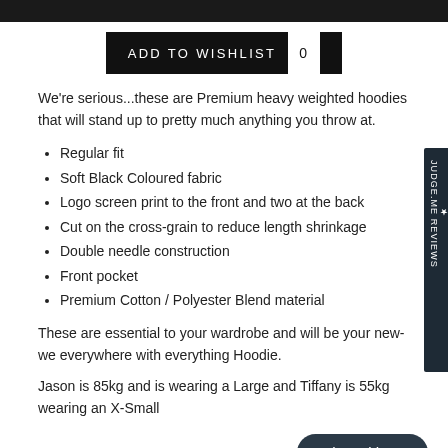[Figure (other): Black top navigation bar]
ADD TO WISHLIST  0
We're serious...these are Premium heavy weighted hoodies that will stand up to pretty much anything you throw at.
Regular fit
Soft Black Coloured fabric
Logo screen print to the front and two at the back
Cut on the cross-grain to reduce length shrinkage
Double needle construction
Front pocket
Premium Cotton / Polyester Blend material
These are essential to your wardrobe and will be your new-we everywhere with everything Hoodie.
Jason is 85kg and is wearing a Large and Tiffany is 55kg wearing an X-Small